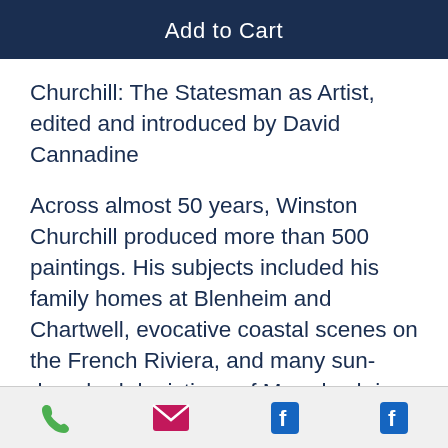Add to Cart
Churchill: The Statesman as Artist, edited and introduced by David Cannadine
Across almost 50 years, Winston Churchill produced more than 500 paintings. His subjects included his family homes at Blenheim and Chartwell, evocative coastal scenes on the French Riviera, and many sun-drenched depictions of Marrakesh in Morocco, as well as still life pictures and an extraordinarily revealing self-
[phone icon] [email icon] [facebook icon] [facebook icon]